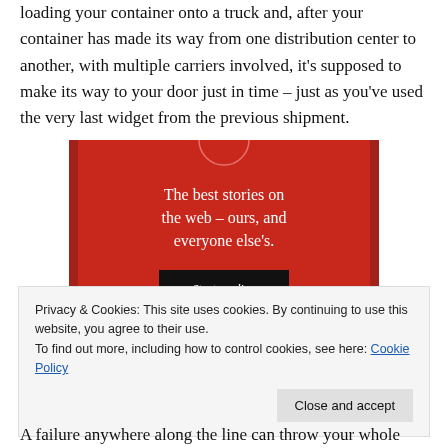loading your container onto a truck and, after your container has made its way from one distribution center to another, with multiple carriers involved, it's supposed to make its way to your door just in time – just as you've used the very last widget from the previous shipment.
[Figure (illustration): Red advertisement banner with white serif text reading 'The best stories on the web – ours, and everyone else's.' with a dark 'Start reading' button below.]
Privacy & Cookies: This site uses cookies. By continuing to use this website, you agree to their use.
To find out more, including how to control cookies, see here: Cookie Policy
A failure anywhere along the line can throw your whole